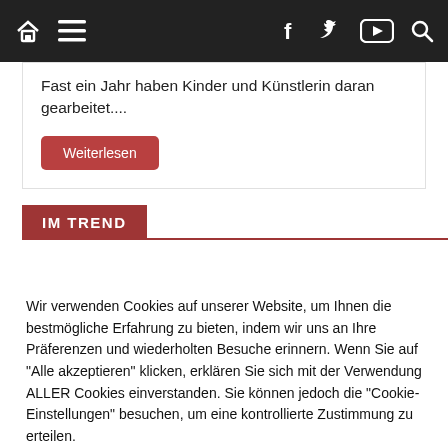Navigation bar with home, menu, facebook, twitter, youtube, search icons
Fast ein Jahr haben Kinder und Künstlerin daran gearbeitet....
Weiterlesen
IM TREND
Wir verwenden Cookies auf unserer Website, um Ihnen die bestmögliche Erfahrung zu bieten, indem wir uns an Ihre Präferenzen und wiederholten Besuche erinnern. Wenn Sie auf "Alle akzeptieren" klicken, erklären Sie sich mit der Verwendung ALLER Cookies einverstanden. Sie können jedoch die "Cookie-Einstellungen" besuchen, um eine kontrollierte Zustimmung zu erteilen.
Einstellungen
Alle akzeptieren